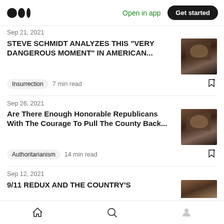Open in app  Get started
Sep 21, 2021
STEVE SCHMIDT ANALYZES THIS “VERY DANGEROUS MOMENT” IN AMERICAN…
Insurrection  7 min read
Sep 26, 2021
Are There Enough Honorable Republicans With The Courage To Pull The County Back…
Authoritarianism  14 min read
Sep 12, 2021
9/11 REDUX AND THE COUNTRY’S
Home  Search  Profile